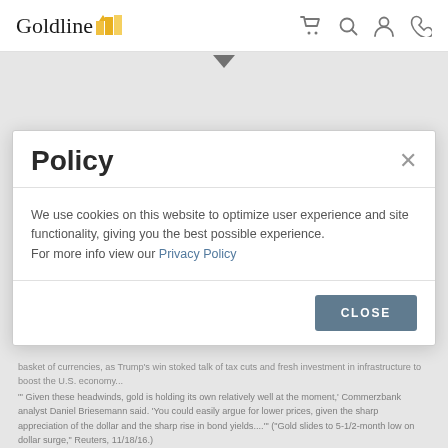Goldline
Policy
We use cookies on this website to optimize user experience and site functionality, giving you the best possible experience. For more info view our Privacy Policy
basket of currencies, as Trump's win stoked talk of tax cuts and fresh investment in infrastructure to boost the U.S. economy...
"' Given these headwinds, gold is holding its own relatively well at the moment,' Commerzbank analyst Daniel Briesemann said. 'You could easily argue for lower prices, given the sharp appreciation of the dollar and the sharp rise in bond yields...."' ("Gold slides to 5-1/2-month low on dollar surge," Reuters, 11/18/16.)